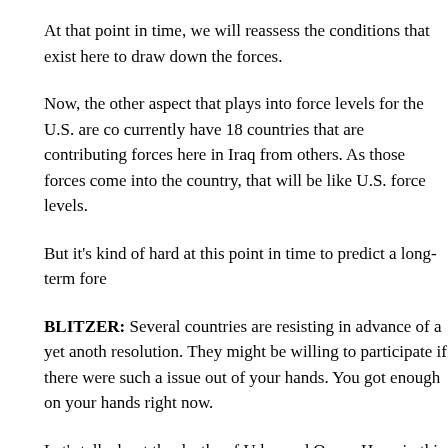At that point in time, we will reassess the conditions that exist here to draw down the forces.
Now, the other aspect that plays into force levels for the U.S. are co currently have 18 countries that are contributing forces here in Iraq from others. As those forces come into the country, that will be like U.S. force levels.
But it's kind of hard at this point in time to predict a long- term fore
BLITZER: Several countries are resisting in advance of a yet anoth resolution. They might be willing to participate if there were such a issue out of your hands. You got enough on your hands right now.
Let's talk about the deaths of Uday and Qusay Hussein this past we